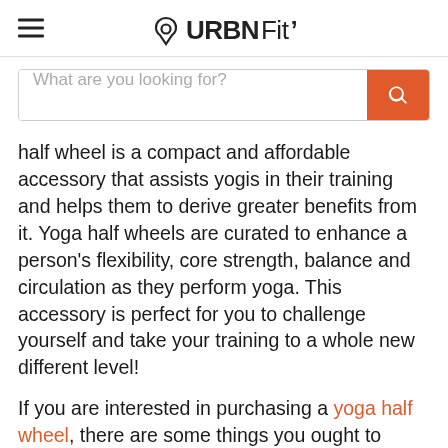URBNFit
What are you looking for?
half wheel is a compact and affordable accessory that assists yogis in their training and helps them to derive greater benefits from it. Yoga half wheels are curated to enhance a person's flexibility, core strength, balance and circulation as they perform yoga. This accessory is perfect for you to challenge yourself and take your training to a whole new different level!
If you are interested in purchasing a yoga half wheel, there are some things you ought to know beforehand. Firstly, this product is completely safe for